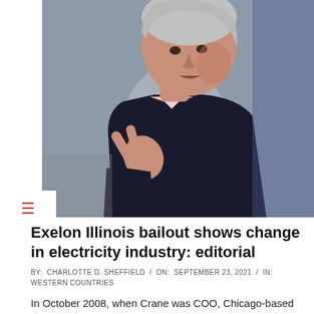[Figure (photo): Two men in a conference or panel setting. The foreground man has gray hair, wears a dark suit, and is gesturing with his right hand. The background man wears glasses and a gray suit jacket.]
Exelon Illinois bailout shows change in electricity industry: editorial
BY:  CHARLOTTE D. SHEFFIELD  /  ON:  SEPTEMBER 23, 2021  /  IN:  WESTERN COUNTRIES
In October 2008, when Crane was COO, Chicago-based Exelon launched a hostile take-over bid for NRG Energy Inc. NRG was a merchant generation company, which means it sells electricity